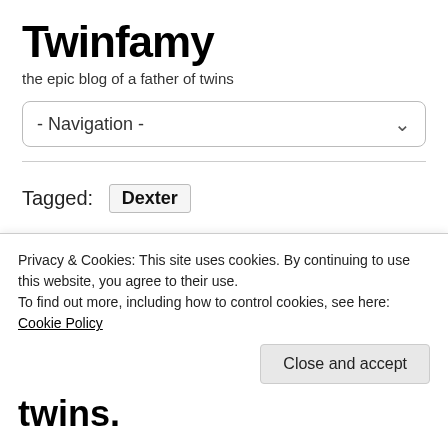Twinfamy
the epic blog of a father of twins
- Navigation -
Tagged: Dexter
NOVEMBER 14, 2012
The Jungle Gym Oracle (or, The Many Reasons Twins Are Easier twins.
Privacy & Cookies: This site uses cookies. By continuing to use this website, you agree to their use.
To find out more, including how to control cookies, see here: Cookie Policy
Close and accept